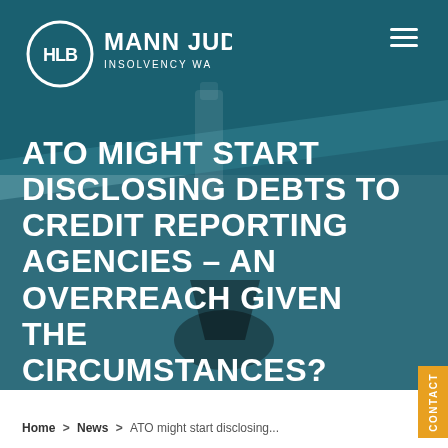[Figure (logo): HLB Mann Judd Insolvency WA logo — white circular ring with 'HLB' text inside, followed by 'MANN JUDD' in large text and 'INSOLVENCY WA' below, all in white on teal background]
ATO MIGHT START DISCLOSING DEBTS TO CREDIT REPORTING AGENCIES – AN OVERREACH GIVEN THE CIRCUMSTANCES?
Home > News > ATO might start disclosing...